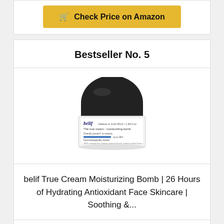Check Price on Amazon
Bestseller No. 5
[Figure (photo): belif True Cream Moisturizing Bomb product jar with black lid, white label showing product name and details]
belif True Cream Moisturizing Bomb | 26 Hours of Hydrating Antioxidant Face Skincare | Soothing &...
Check Price on Amazon